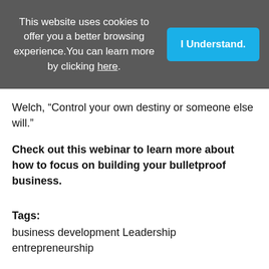This website uses cookies to offer you a better browsing experience. You can learn more by clicking here.
I Understand.
Welch, “Control your own destiny or someone else will.”
Check out this webinar to learn more about how to focus on building your bulletproof business.
Tags: business development Leadership entrepreneurship